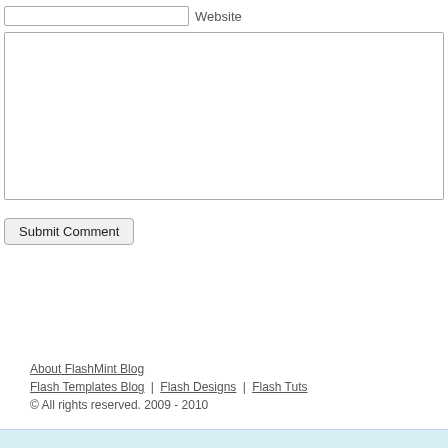Website
Submit Comment
About FlashMint Blog
Flash Templates Blog | Flash Designs | Flash Tuts
© All rights reserved. 2009 - 2010